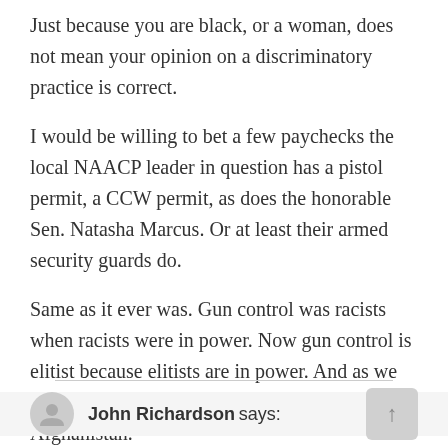Just because you are black, or a woman, does not mean your opinion on a discriminatory practice is correct.
I would be willing to bet a few paychecks the local NAACP leader in question has a pistol permit, a CCW permit, as does the honorable Sen. Natasha Marcus. Or at least their armed security guards do.
Same as it ever was. Gun control was racists when racists were in power. Now gun control is elitist because elitists are in power. And as we all know elitists are infallible. See also: Afghanistan.
John Richardson says: